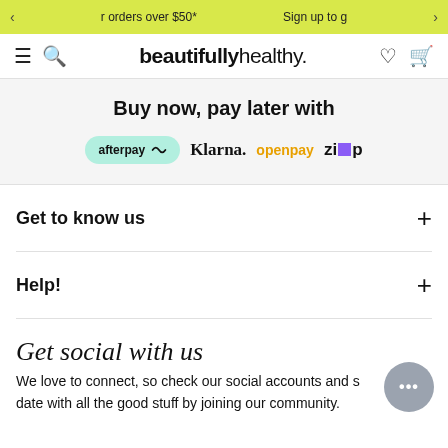orders over $50* | Sign up to g
[Figure (logo): beautifully healthy logo in navigation bar with hamburger menu, search, heart, and basket icons]
Buy now, pay later with
[Figure (logo): Payment logos: afterpay, Klarna, openpay, zip]
Get to know us
Help!
Get social with us
We love to connect, so check our social accounts and stay up to date with all the good stuff by joining our community.